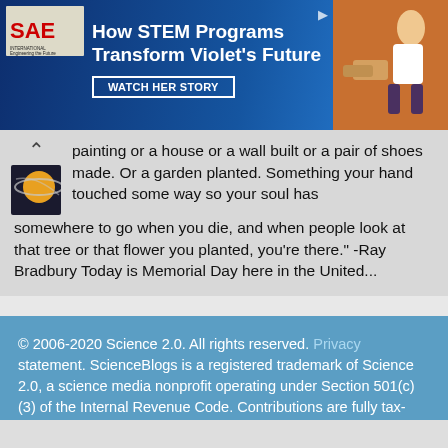[Figure (screenshot): SAE advertisement banner: 'How STEM Programs Transform Violet's Future' with Watch Her Story button, SAE logo on left, child photo on right]
painting or a house or a wall built or a pair of shoes made. Or a garden planted. Something your hand touched some way so your soul has somewhere to go when you die, and when people look at that tree or that flower you planted, you're there." -Ray Bradbury Today is Memorial Day here in the United...
© 2006-2020 Science 2.0. All rights reserved. Privacy statement. ScienceBlogs is a registered trademark of Science 2.0, a science media nonprofit operating under Section 501(c)(3) of the Internal Revenue Code. Contributions are fully tax-deductible.